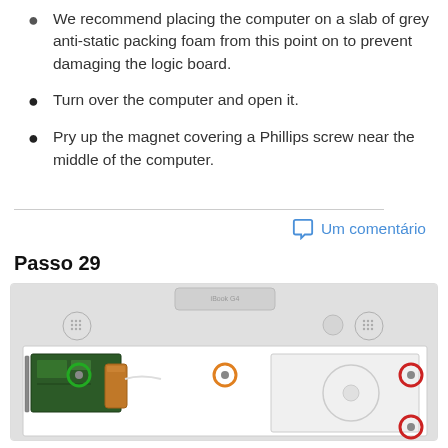We recommend placing the computer on a slab of grey anti-static packing foam from this point on to prevent damaging the logic board.
Turn over the computer and open it.
Pry up the magnet covering a Phillips screw near the middle of the computer.
Um comentário
Passo 29
[Figure (photo): Top-down view of an iBook G4 laptop opened, showing the internal layout with the logic board on the left, battery in the center-left, optical drive on the right. Three screws are circled: one green circle (left), one orange circle (center), and two red circles (right side).]